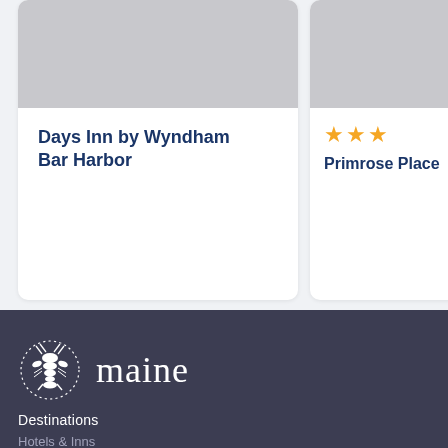[Figure (photo): Gray placeholder image for Days Inn by Wyndham Bar Harbor hotel card]
Days Inn by Wyndham Bar Harbor
[Figure (photo): Gray placeholder image for Primrose Place hotel card]
★★★ Primrose Place
[Figure (logo): Maine lobster logo with dotted circle border, white on dark background]
maine
Destinations
Hotels & Inns